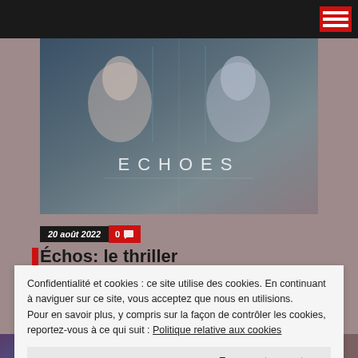[Figure (photo): Hero image for the TV series 'Echoes' showing two women facing back to back in a dark blue/teal atmospheric setting, with the stylized title 'ECHOES' overlaid at the bottom]
20 août 2022  0 💬
Échos: le thriller
Confidentialité et cookies : ce site utilise des cookies. En continuant à naviguer sur ce site, vous acceptez que nous en utilisions. Pour en savoir plus, y compris sur la façon de contrôler les cookies, reportez-vous à ce qui suit : Politique relative aux cookies
Fermer et accepter
365 jours : L'année d'après: X